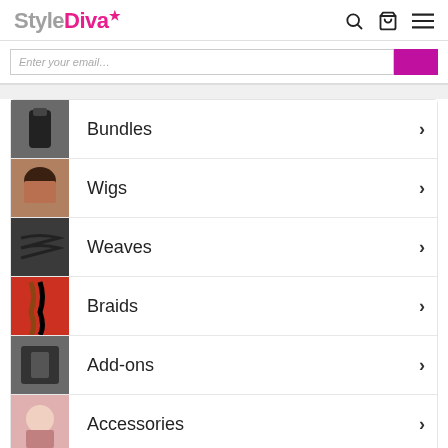StyleDiva
[Figure (screenshot): Search bar with magenta submit button]
Bundles
Wigs
Weaves
Braids
Add-ons
Accessories
About us